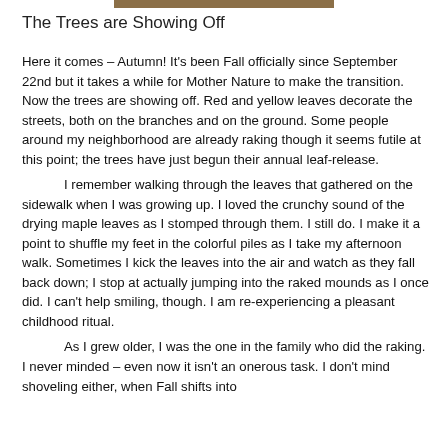[Figure (photo): Partial image of autumn trees visible at the top of the page]
The Trees are Showing Off
Here it comes – Autumn! It's been Fall officially since September 22nd but it takes a while for Mother Nature to make the transition. Now the trees are showing off. Red and yellow leaves decorate the streets, both on the branches and on the ground. Some people around my neighborhood are already raking though it seems futile at this point; the trees have just begun their annual leaf-release.
	I remember walking through the leaves that gathered on the sidewalk when I was growing up. I loved the crunchy sound of the drying maple leaves as I stomped through them. I still do. I make it a point to shuffle my feet in the colorful piles as I take my afternoon walk. Sometimes I kick the leaves into the air and watch as they fall back down; I stop at actually jumping into the raked mounds as I once did. I can't help smiling, though. I am re-experiencing a pleasant childhood ritual.
	As I grew older, I was the one in the family who did the raking. I never minded – even now it isn't an onerous task. I don't mind shoveling either, when Fall shifts into